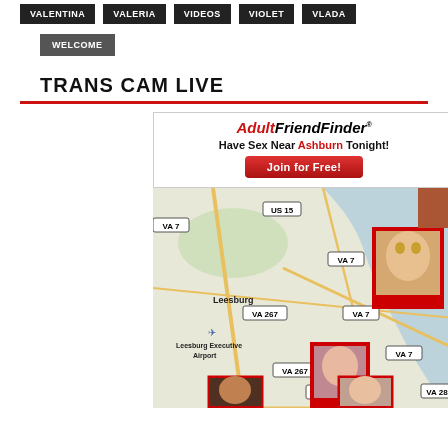VALENTINA  VALERIA  VIDEOS  VIOLET  VLADA
WELCOME
TRANS CAM LIVE
[Figure (infographic): AdultFriendFinder advertisement banner with text 'Have Sex Near Ashburn Tonight!' and 'Join for Free!' button, overlaid on a map showing Leesburg VA area with profile photos of women pinned to various map locations. Map shows roads labeled VA 7, US 15, VA 267, VA 28, and Leesburg Executive Airport.]